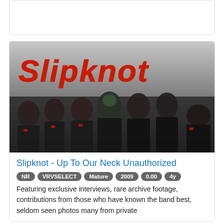[Figure (photo): Top portion of a card element, partially visible, white background with gray border]
[Figure (photo): Slipknot band promotional photo with the band's red graffiti-style logo at top, nine members in black jumpsuits wearing horror masks, dark tone]
Slipknot - Up To Our Neck Unauthorized
NR VRVSELECT Mature 2009 0.00 4y
Featuring exclusive interviews, rare archive footage, contributions from those who have known the band best, seldom seen photos many from private